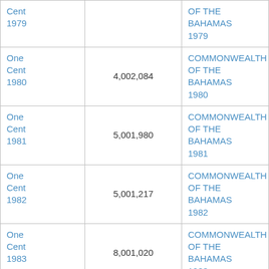| Denomination/Year | Mintage | Inscription |
| --- | --- | --- |
| One Cent 1979 |  | COMMONWEALTH OF THE BAHAMAS 1979 |
| One Cent 1980 | 4,002,084 | COMMONWEALTH OF THE BAHAMAS 1980 |
| One Cent 1981 | 5,001,980 | COMMONWEALTH OF THE BAHAMAS 1981 |
| One Cent 1982 | 5,001,217 | COMMONWEALTH OF THE BAHAMAS 1982 |
| One Cent 1983 | 8,001,020 | COMMONWEALTH OF THE BAHAMAS 1983 |
| One Cent 1984 | unknown | COMMONWEALTH OF THE BAHAMAS 1984 |
| One Cent ... | 12,007,500 | COMMONWEALTH OF THE BAHAMAS ... |